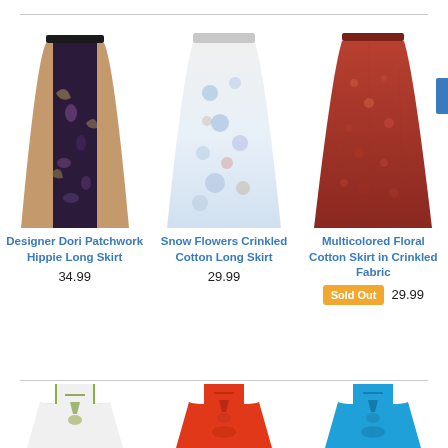[Figure (photo): Designer Dori Patchwork Hippie Long Skirt - floral/patchwork dark fabric skirt]
Designer Dori Patchwork Hippie Long Skirt
34.99
[Figure (photo): Snow Flowers Crinkled Cotton Long Skirt - white/blue floral crinkled skirt]
Snow Flowers Crinkled Cotton Long Skirt
29.99
[Figure (photo): Multicolored Floral Cotton Skirt in Crinkled Fabric - red/brown floral skirt]
Multicolored Floral Cotton Skirt in Crinkled Fabric
Sold Out  29.99
[Figure (photo): White dashiki-style dress with green trim]
[Figure (photo): Red dashiki-style dress]
[Figure (photo): Blue dashiki-style dress]